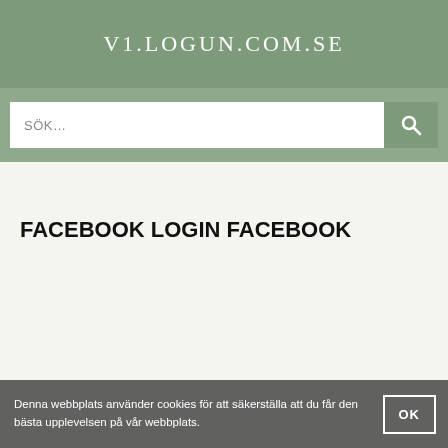V1.LOGUN.COM.SE
[Figure (screenshot): Search bar with text placeholder 'SÖK...' and a search button icon]
FACEBOOK LOGIN FACEBOOK
Denna webbplats använder cookies för att säkerställa att du får den bästa upplevelsen på vår webbplats.